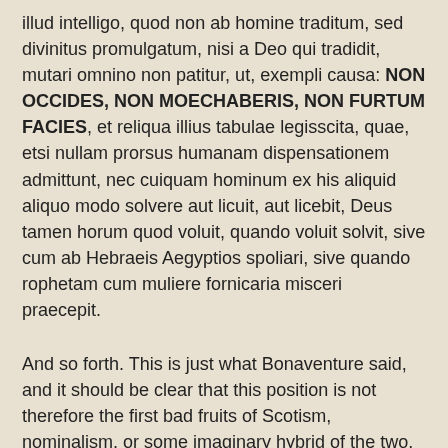illud intelligo, quod non ab homine traditum, sed divinitus promulgatum, nisi a Deo qui tradidit, mutari omnino non patitur, ut, exempli causa: NON OCCIDES, NON MOECHABERIS, NON FURTUM FACIES, et reliqua illius tabulae legisscita, quae, etsi nullam prorsus humanam dispensationem admittunt, nec cuiquam hominum ex his aliquid aliquo modo solvere aut licuit, aut licebit, Deus tamen horum quod voluit, quando voluit solvit, sive cum ab Hebraeis Aegyptios spoliari, sive quando rophetam cum muliere fornicaria misceri praecepit.
And so forth. This is just what Bonaventure said, and it should be clear that this position is not therefore the first bad fruits of Scotism, nominalism, or some imaginary hybrid of the two.
Moving on: in the same question St Bonaventure asks the hilarious question: say there's only three people left alive on